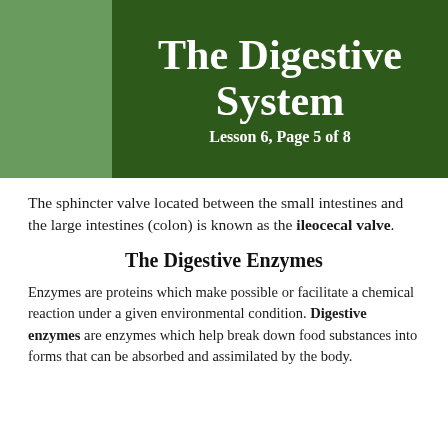The Digestive System
Lesson 6, Page 5 of 8
The sphincter valve located between the small intestines and the large intestines (colon) is known as the ileocecal valve.
The Digestive Enzymes
Enzymes are proteins which make possible or facilitate a chemical reaction under a given environmental condition. Digestive enzymes are enzymes which help break down food substances into forms that can be absorbed and assimilated by the body.